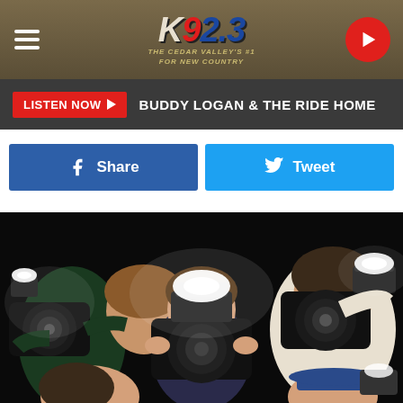K92.3 – The Cedar Valley's #1 For New Country
LISTEN NOW ▶  BUDDY LOGAN & THE RIDE HOME
[Figure (other): Facebook Share button and Twitter Tweet button side by side]
[Figure (photo): Group of paparazzi photographers holding cameras with flashes toward the viewer against a dark background]